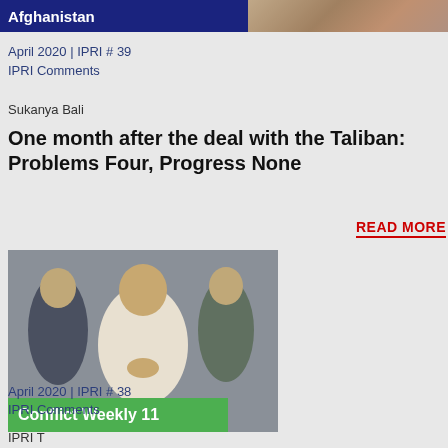[Figure (photo): Top banner with text Afghanistan and a photo of people]
April 2020 | IPRI # 39
IPRI Comments
Sukanya Bali
One month after the deal with the Taliban: Problems Four, Progress None
READ MORE
[Figure (photo): Photo of a man in white shirt with hands in prayer gesture, flanked by military officers in uniform. Green banner reads Conflict Weekly 11]
April 2020 | IPRI # 38
IPRI Comments
IPRI T